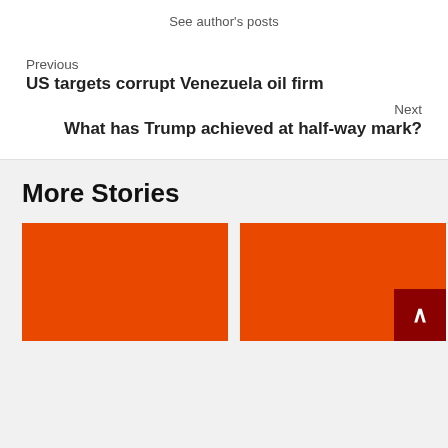See author's posts
Previous
US targets corrupt Venezuela oil firm
Next
What has Trump achieved at half-way mark?
More Stories
[Figure (photo): Orange placeholder image card (left)]
[Figure (photo): Orange placeholder image card (right) with scroll-to-top button overlay]